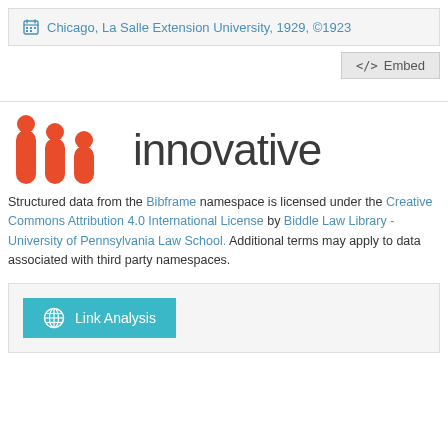Chicago, La Salle Extension University, 1929, ©1923
</>  Embed
[Figure (logo): Innovative Interfaces logo with three red bar-chart-like pillars and the word 'innovative' in dark grey]
Structured data from the Bibframe namespace is licensed under the Creative Commons Attribution 4.0 International License by Biddle Law Library - University of Pennsylvania Law School. Additional terms may apply to data associated with third party namespaces.
Link Analysis